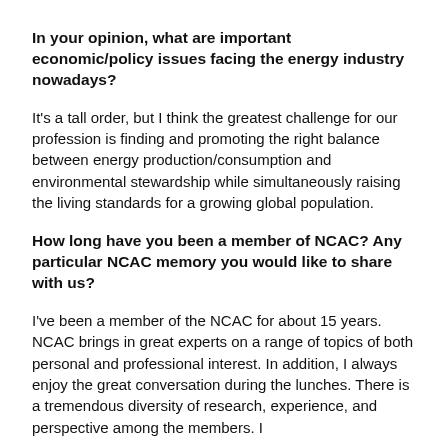In your opinion, what are important economic/policy issues facing the energy industry nowadays?
It's a tall order, but I think the greatest challenge for our profession is finding and promoting the right balance between energy production/consumption and environmental stewardship while simultaneously raising the living standards for a growing global population.
How long have you been a member of NCAC? Any particular NCAC memory you would like to share with us?
I've been a member of the NCAC for about 15 years. NCAC brings in great experts on a range of topics of both personal and professional interest. In addition, I always enjoy the great conversation during the lunches. There is a tremendous diversity of research, experience, and perspective among the members. I